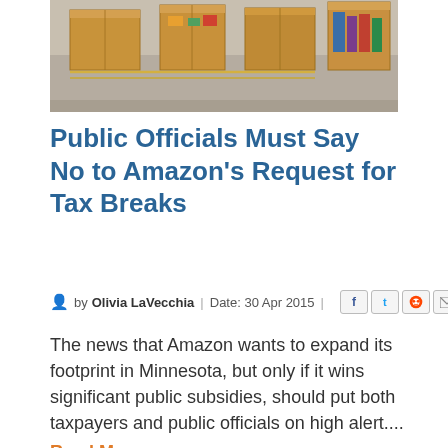[Figure (photo): Aerial/overhead view of cardboard boxes on shelves or carts in a warehouse facility, resembling an Amazon fulfillment center.]
Public Officials Must Say No to Amazon's Request for Tax Breaks
by Olivia LaVecchia | Date: 30 Apr 2015 | [social icons: Facebook, Twitter, Reddit, Email]
The news that Amazon wants to expand its footprint in Minnesota, but only if it wins significant public subsidies, should put both taxpayers and public officials on high alert....
Read More